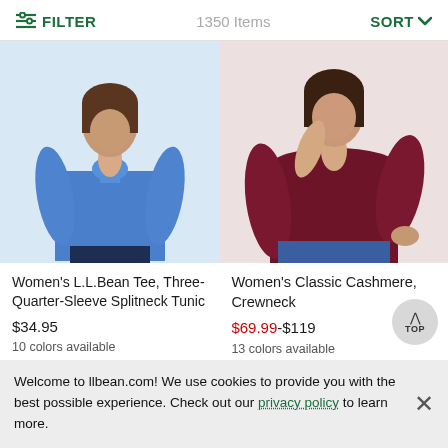FILTER   1350 Items   SORT
[Figure (photo): Woman wearing a blue three-quarter sleeve splitneck tunic top]
[Figure (photo): Woman wearing a dark red/burgundy classic cashmere crewneck sweater with jeans]
Women's L.L.Bean Tee, Three-Quarter-Sleeve Splitneck Tunic
$34.95
10 colors available
Women's Classic Cashmere, Crewneck
$69.99-$119
13 colors available
★★★★½ 1983
Welcome to llbean.com! We use cookies to provide you with the best possible experience. Check out our privacy policy to learn more.